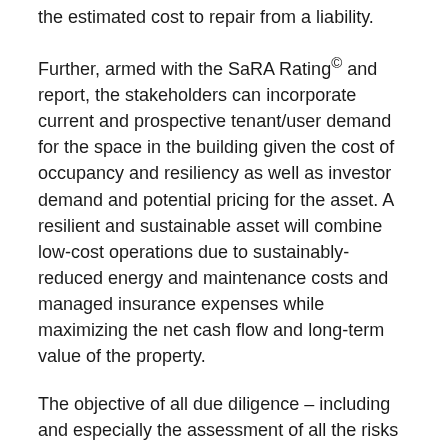the estimated cost to repair from a liability.
Further, armed with the SaRA Rating© and report, the stakeholders can incorporate current and prospective tenant/user demand for the space in the building given the cost of occupancy and resiliency as well as investor demand and potential pricing for the asset. A resilient and sustainable asset will combine low-cost operations due to sustainably-reduced energy and maintenance costs and managed insurance expenses while maximizing the net cash flow and long-term value of the property.
The objective of all due diligence – including and especially the assessment of all the risks of ownership – is to optimize the overall returns on the investment while quantifying and minimizing the risks and costs to achieve those goals – that is the purpose of Emerald Skyline's Sustainability and Resiliency Assessment Rating© system.